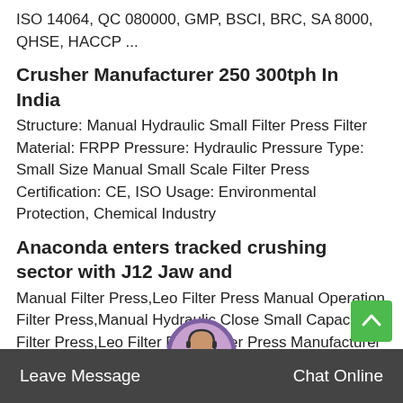ISO 14064, QC 080000, GMP, BSCI, BRC, SA 8000, QHSE, HACCP ...
Crusher Manufacturer 250 300tph In India
Structure: Manual Hydraulic Small Filter Press Filter Material: FRPP Pressure: Hydraulic Pressure Type: Small Size Manual Small Scale Filter Press Certification: CE, ISO Usage: Environmental Protection, Chemical Industry
Anaconda enters tracked crushing sector with J12 Jaw and
Manual Filter Press,Leo Filter Press Manual Operation Filter Press,Manual Hydraulic Close Small Capacity Filter Press,Leo Filter Press,Filter Press Manufacturer FOB Price: US $2,000-6,000 / Piece Min. Order: 1 Piece
Ferrexpo Archives International Mining
bench top filter press for filtration and laboratory